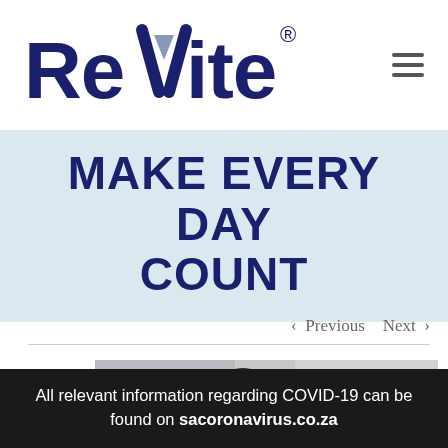[Figure (logo): ReVite logo with stylized V containing a downward-pointing triangle, registered trademark symbol]
MAKE EVERY DAY COUNT
< Previous   Next >
[Figure (photo): Woman in athletic wear (teal top, red shorts) stretching/leaning forward in a fitness pose against a concrete wall background]
All relevant information regarding COVID-19 can be found on sacoronavirus.co.za